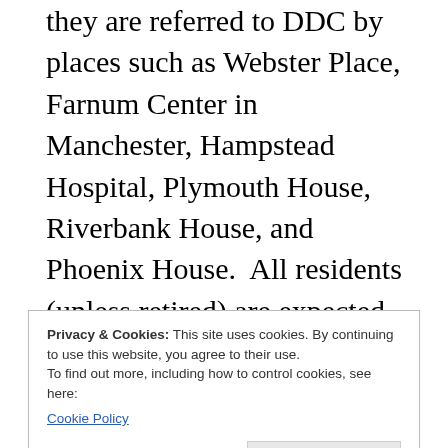they are referred to DDC by places such as Webster Place, Farnum Center in Manchester, Hampstead Hospital, Plymouth House, Riverbank House, and Phoenix House.  All residents (unless retired) are expected to find employment.  Their occupations include student, retired corrections officer, master carpenters, software engineer, roofer, chefs, antique book dealer, Spaulding Youth Center
Privacy & Cookies: This site uses cookies. By continuing to use this website, you agree to their use.
To find out more, including how to control cookies, see here:
Cookie Policy
Close and accept
residents (including House Managers and